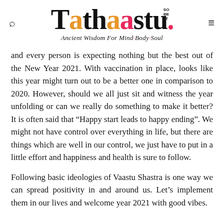Tathaastu — So Be It. Ancient Wisdom For Mind·Body·Soul
and every person is expecting nothing but the best out of the New Year 2021. With vaccination in place, looks like this year might turn out to be a better one in comparison to 2020. However, should we all just sit and witness the year unfolding or can we really do something to make it better? It is often said that "Happy start leads to happy ending". We might not have control over everything in life, but there are things which are well in our control, we just have to put in a little effort and happiness and health is sure to follow.
Following basic ideologies of Vaastu Shastra is one way we can spread positivity in and around us. Let's implement them in our lives and welcome year 2021 with good vibes.